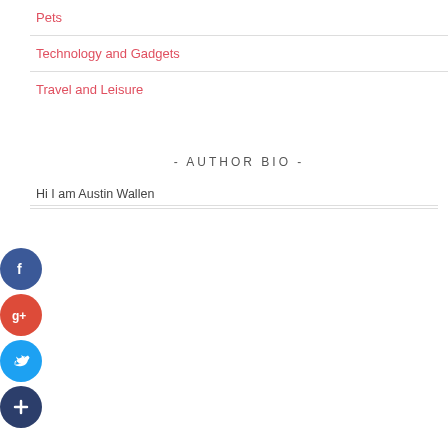Pets
Technology and Gadgets
Travel and Leisure
- AUTHOR BIO -
Hi I am Austin Wallen
[Figure (other): Small broken image icon]
[Figure (other): Social media share buttons: Facebook, Google+, Twitter, Add/More]